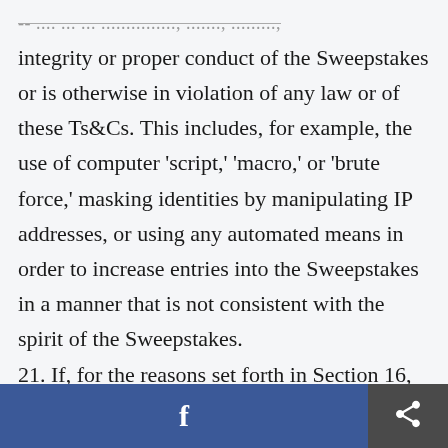-- ... ... ... ..............., ......, ........., integrity or proper conduct of the Sweepstakes or is otherwise in violation of any law or of these Ts&Cs. This includes, for example, the use of computer 'script,' 'macro,' or 'brute force,' masking identities by manipulating IP addresses, or using any automated means in order to increase entries into the Sweepstakes in a manner that is not consistent with the spirit of the Sweepstakes. 21. If, for the reasons set forth in Section 16, or other reasons outside the reasonable control of the
f [share]